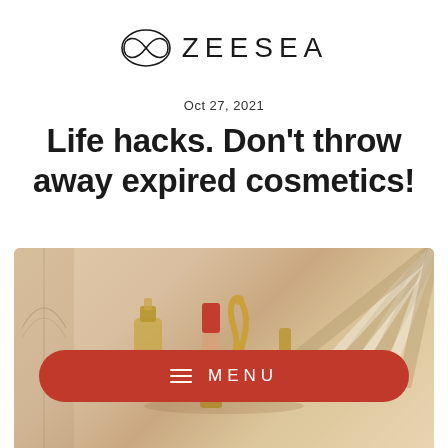[Figure (logo): ZEESEA brand logo with infinity/eye-shaped icon and text ZEESEA]
Oct 27, 2021
Life hacks. Don't throw away expired cosmetics!
[Figure (photo): Photo of cosmetics products including a red lipstick and gold cosmetic items arranged on a beige/champagne background with decorative fan/stripe element in top right]
MENU